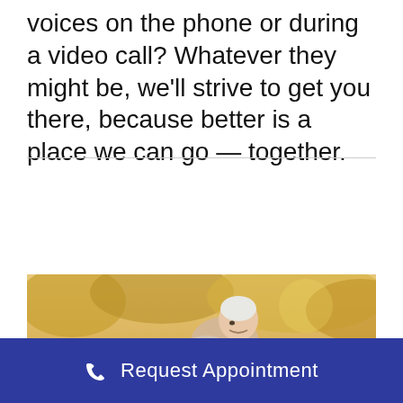voices on the phone or during a video call? Whatever they might be, we'll strive to get you there, because better is a place we can go — together.
[Figure (photo): An elderly man with white hair leaning forward and smiling outdoors, with warm autumn foliage in the background.]
Request Appointment